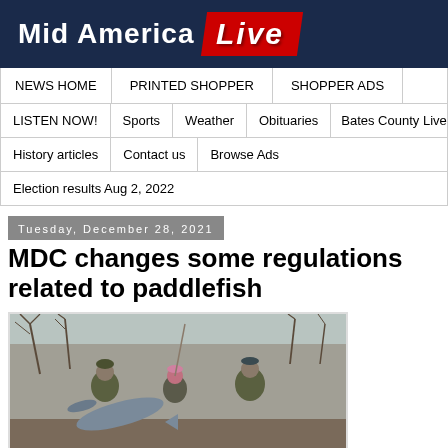Mid America Live
NEWS HOME
PRINTED SHOPPER
SHOPPER ADS
LISTEN NOW!
Sports
Weather
Obituaries
Bates County Live
History articles
Contact us
Browse Ads
Election results Aug 2, 2022
Tuesday, December 28, 2021
MDC changes some regulations related to paddlefish
[Figure (photo): Three people outdoors in winter clothing, two in camouflage and one in a pink hat, holding a paddlefish near a river with bare trees in the background.]